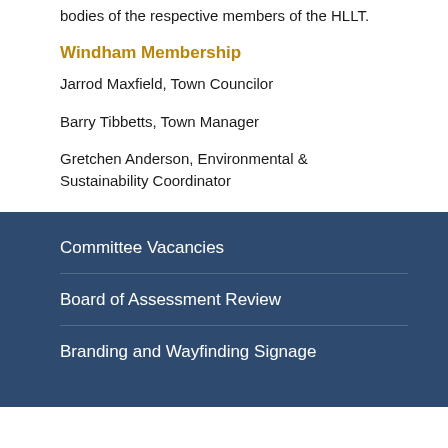bodies of the respective members of the HLLT.
Windham Membership
Jarrod Maxfield, Town Councilor
Barry Tibbetts, Town Manager
Gretchen Anderson, Environmental & Sustainability Coordinator
Committee Vacancies
Board of Assessment Review
Branding and Wayfinding Signage